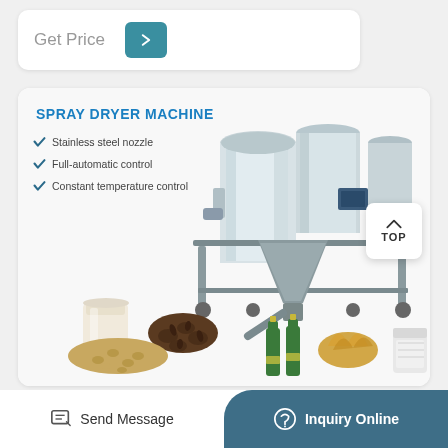Get Price
[Figure (photo): Spray dryer machine with stainless steel body on a metal stand, surrounded by food/beverage products: milk in glass, coffee beans, grain/seeds, beer bottles, liquid splash, and white powder bag]
SPRAY DRYER MACHINE
Stainless steel nozzle
Full-automatic control
Constant temperature control
Send Message
Inquiry Online